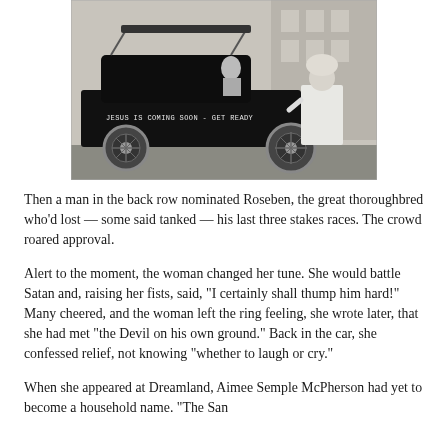[Figure (photo): Vintage black and white photograph of an early automobile with text 'JESUS IS COMING SOON - GET READY' written on its side. A woman in white dress stands beside the car.]
Then a man in the back row nominated Roseben, the great thoroughbred who'd lost — some said tanked — his last three stakes races. The crowd roared approval.
Alert to the moment, the woman changed her tune. She would battle Satan and, raising her fists, said, "I certainly shall thump him hard!" Many cheered, and the woman left the ring feeling, she wrote later, that she had met "the Devil on his own ground." Back in the car, she confessed relief, not knowing "whether to laugh or cry."
When she appeared at Dreamland, Aimee Semple McPherson had yet to become a household name. "The San